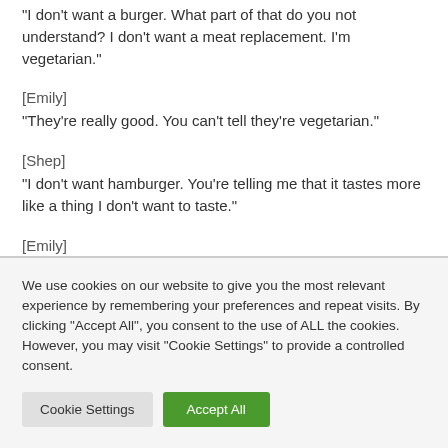“I don’t want a burger. What part of that do you not understand? I don’t want a meat replacement. I’m vegetarian.”
[Emily]
“They’re really good. You can’t tell they’re vegetarian.”
[Shep]
“I don’t want hamburger. You’re telling me that it tastes more like a thing I don’t want to taste.”
[Emily]
So we get to the protago- or, the pod BBQ house.
We use cookies on our website to give you the most relevant experience by remembering your preferences and repeat visits. By clicking “Accept All”, you consent to the use of ALL the cookies. However, you may visit "Cookie Settings" to provide a controlled consent.
Cookie Settings
Accept All